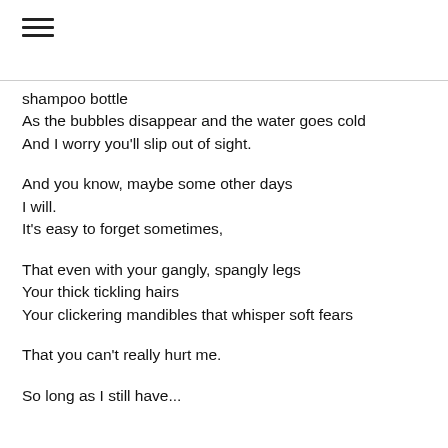≡
shampoo bottle
As the bubbles disappear and the water goes cold
And I worry you'll slip out of sight.

And you know, maybe some other days
I will.
It's easy to forget sometimes,

That even with your gangly, spangly legs
Your thick tickling hairs
Your clickering mandibles that whisper soft fears

That you can't really hurt me.

So long as I still have...